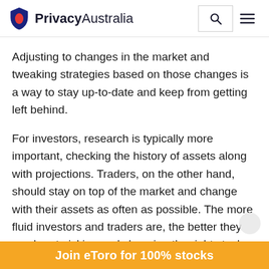PrivacyAustralia
Adjusting to changes in the market and tweaking strategies based on those changes is a way to stay up-to-date and keep from getting left behind.
For investors, research is typically more important, checking the history of assets along with projections. Traders, on the other hand, should stay on top of the market and change with their assets as often as possible. The more fluid investors and traders are, the better they can be at picking and choosing the right stocks for them.
What are Mobile Stock Trading
Join eToro for 100% stocks